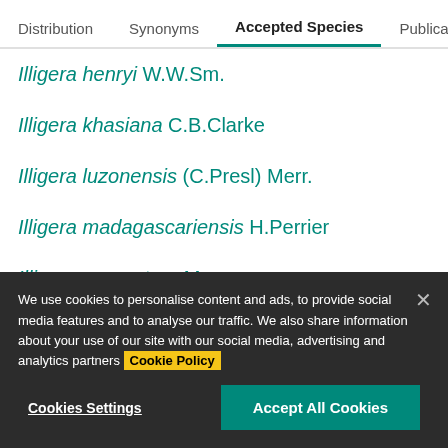Distribution  Synonyms  Accepted Species  Publications
Illigera henryi W.W.Sm.
Illigera khasiana C.B.Clarke
Illigera luzonensis (C.Presl) Merr.
Illigera madagascariensis H.Perrier
Illigera megaptera Merr.
Illigera nervosa Merr.
Illigera novoguineensis Kubitzki
We use cookies to personalise content and ads, to provide social media features and to analyse our traffic. We also share information about your use of our site with our social media, advertising and analytics partners Cookie Policy
Cookies Settings  Accept All Cookies